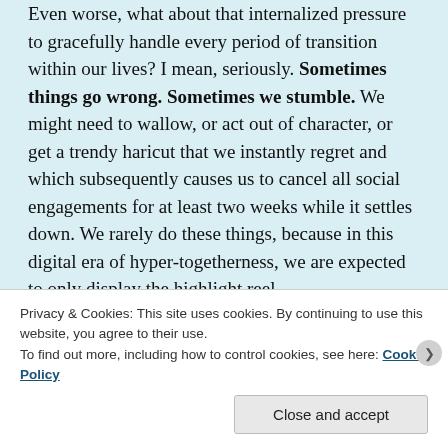Even worse, what about that internalized pressure to gracefully handle every period of transition within our lives? I mean, seriously. Sometimes things go wrong. Sometimes we stumble. We might need to wallow, or act out of character, or get a trendy haricut that we instantly regret and which subsequently causes us to cancel all social engagements for at least two weeks while it settles down. We rarely do these things, because in this digital era of hyper-togetherness, we are expected to only display the highlight reel.
What does that mean? It means that we never really get the closure we need. Twenty years ago, someone
Privacy & Cookies: This site uses cookies. By continuing to use this website, you agree to their use.
To find out more, including how to control cookies, see here: Cookie Policy